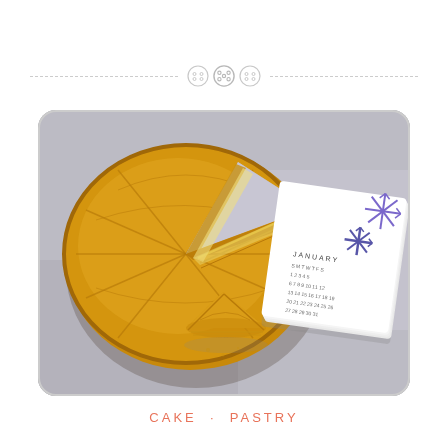[Figure (illustration): Decorative divider with three button icons on a dashed horizontal line]
[Figure (photo): Overhead photo of a round golden puff pastry galette des rois with one slice cut out, placed on a silver tray next to a January calendar booklet with purple snowflake decorations]
CAKE · PASTRY